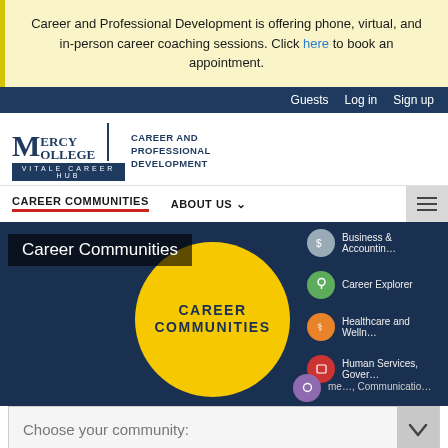Career and Professional Development is offering phone, virtual, and in-person career coaching sessions. Click here to book an appointment.
Guests  Log in  Sign up
[Figure (logo): Mercy College | Career and Professional Development - Vitale Career Hub logo]
CAREER COMMUNITIES   ABOUT US
[Figure (screenshot): Career Communities hero section with yellow circle and side menu showing Business & Accounting, Career Explorer, Healthcare and Wellness, Human Services/Government, Media/Communications icons]
Choose your community:
Featured Internships